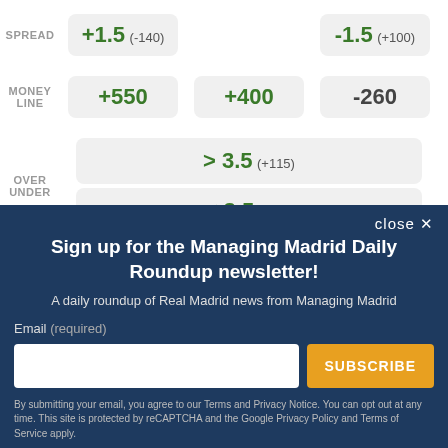|  | Team 1 | Draw | Team 2 |
| --- | --- | --- | --- |
| SPREAD | +1.5 (-140) |  | -1.5 (+100) |
| MONEY LINE | +550 | +400 | -260 |
| OVER UNDER | > 3.5 (+115) |  | < 3.5 (-140) |
Sign up for the Managing Madrid Daily Roundup newsletter!
A daily roundup of Real Madrid news from Managing Madrid
Email (required)
By submitting your email, you agree to our Terms and Privacy Notice. You can opt out at any time. This site is protected by reCAPTCHA and the Google Privacy Policy and Terms of Service apply.